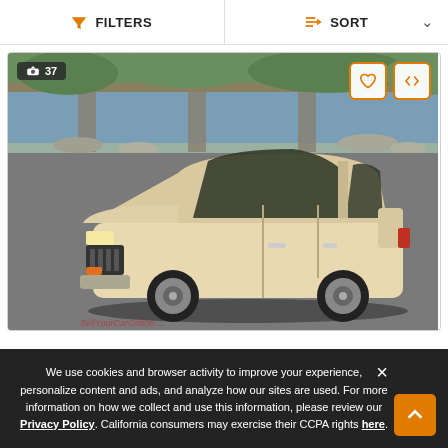FILTERS   SORT
[Figure (photo): A beige/cream colored vintage Ford Crown Victoria sedan photographed in a parking lot near a river and bridge. Photo count badge shows 37 photos. Heart (save) and compare icon buttons visible in top corners.]
We use cookies and browser activity to improve your experience, personalize content and ads, and analyze how our sites are used. For more information on how we collect and use this information, please review our Privacy Policy. California consumers may exercise their CCPA rights here.